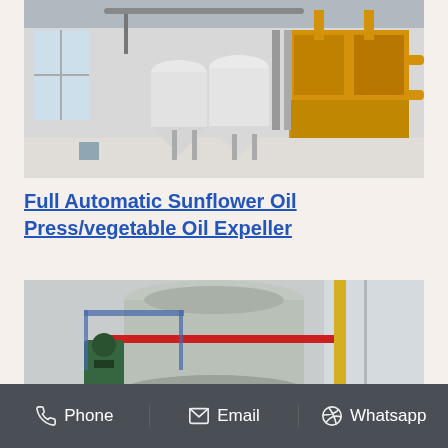[Figure (photo): Industrial oil processing facility interior showing large white conical tanks/silos and yellow industrial machinery/equipment on a polished floor]
Full Automatic Sunflower Oil Press/vegetable Oil Expeller
[Figure (photo): Close-up of industrial oil press machinery showing large cylindrical equipment with pipes and red/yellow piping in a factory setting]
Phone   Email   Whatsapp